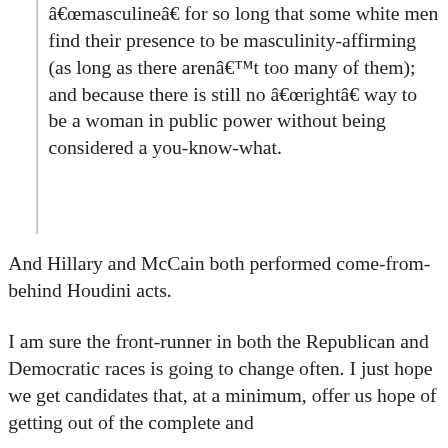“masculine” for so long that some white men find their presence to be masculinity-affirming (as long as there aren’t too many of them); and because there is still no “right” way to be a woman in public power without being considered a you-know-what.
And Hillary and McCain both performed come-from-behind Houdini acts.
I am sure the front-runner in both the Republican and Democratic races is going to change often. I just hope we get candidates that, at a minimum, offer us hope of getting out of the complete and